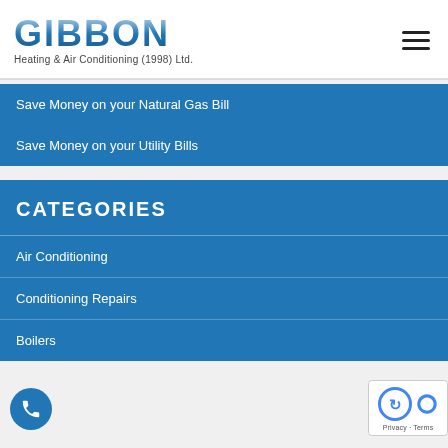GIBBON Heating & Air Conditioning (1998) Ltd.
Save Money on your Natural Gas Bill
Save Money on your Utility Bills
CATEGORIES
Air Conditioning
Conditioning Repairs
Boilers